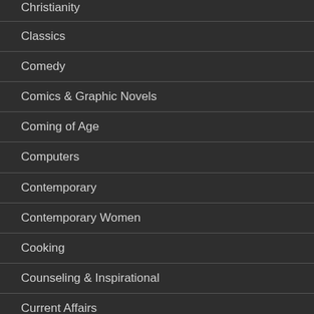Christianity
Classics
Comedy
Comics & Graphic Novels
Coming of Age
Computers
Contemporary
Contemporary Women
Cooking
Counseling & Inspirational
Current Affairs
Death & Bereavement